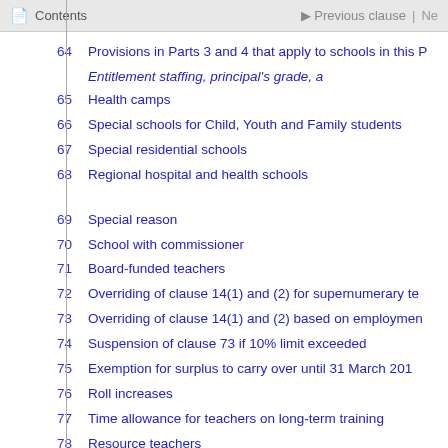Contents | Previous clause
64   Provisions in Parts 3 and 4 that apply to schools in this P
Entitlement staffing, principal's grade, a
65   Health camps
66   Special schools for Child, Youth and Family students
67   Special residential schools
68   Regional hospital and health schools
69   Special reason
70   School with commissioner
71   Board-funded teachers
72   Overriding of clause 14(1) and (2) for supernumerary te
73   Overriding of clause 14(1) and (2) based on employmen
74   Suspension of clause 73 if 10% limit exceeded
75   Exemption for surplus to carry over until 31 March 201
76   Roll increases
77   Time allowance for teachers on long-term training
78   Resource teachers
79   Supplementary learning support teachers
80   Protection of resource quota teachers